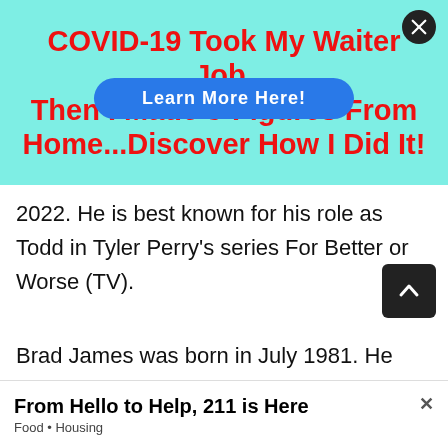[Figure (infographic): Advertisement banner with cyan/turquoise background. Bold red text: 'COVID-19 Took My Waiter Job, Then I Made 5-Figures From Home...Discover How I Did It!' with a blue oval 'Learn More Here!' button overlaid in the middle.]
2022. He is best known for his role as Todd in Tyler Perry's series For Better or Worse (TV).
Brad James was born in July 1981. He has appeared in commercials for Walmart,
[Figure (infographic): Bottom advertisement banner: 'From Hello to Help, 211 is Here' with subtitle 'Food • Housing' and an X close button.]